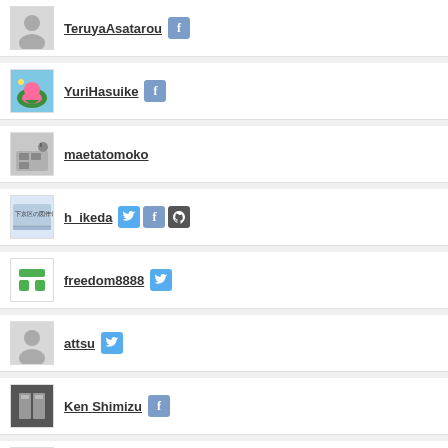TeruyaAsatarou [Facebook]
YuriHasuike [Facebook]
maetatomoko
h_ikeda [Twitter][Facebook][GitHub]
freedom8888 [Twitter]
attsu [Twitter]
Ken Shimizu [Facebook]
mami_enomoto [Facebook]